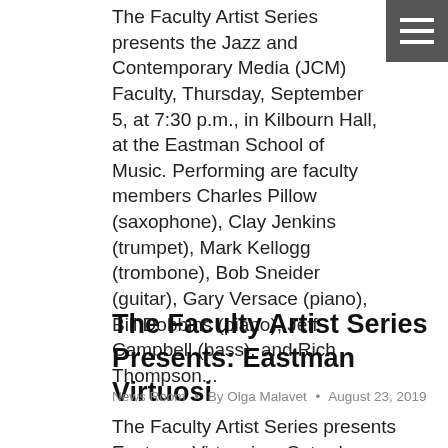The Faculty Artist Series presents the Jazz and Contemporary Media (JCM) Faculty, Thursday, September 5, at 7:30 p.m., in Kilbourn Hall, at the Eastman School of Music. Performing are faculty members Charles Pillow (saxophone), Clay Jenkins (trumpet), Mark Kellogg (trombone), Bob Sneider (guitar), Gary Versace (piano), Bill Dobbins (piano), Jeff Campbell (bass), and Rich Thompson...
[Figure (other): Hamburger menu icon — three horizontal white lines on a dark grey square background]
The Faculty Artist Series Presents: Eastman Virtuosi
News Room • By Olga Malavet • August 23, 2019
The Faculty Artist Series presents Eastman Virtuosi on Saturday, September 7, at 7:30 p.m., in Kilbourn Hall, at the Eastman School...